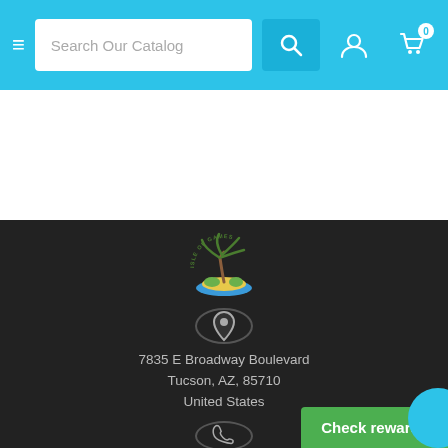Search Our Catalog
[Figure (logo): Isle of Games logo: palm tree on island with circular text around it]
7835 E Broadway Boulevard
Tucson, AZ, 85710
United States
520-886-4263
Check rewards